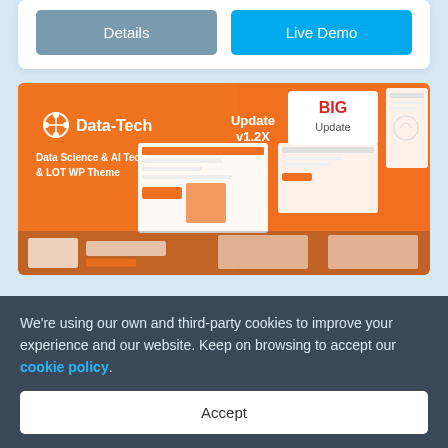[Figure (screenshot): Two buttons: 'Details' (grey) and 'Live Demo' (blue) inside a white card]
[Figure (screenshot): Data-Tech WordPress theme promotional banner showing orange background with theme screenshots and 'BIG Update v1.2X' text, Data Science & AI Tech & LOT WP Theme label]
We're using our own and third-party cookies to improve your experience and our website. Keep on browsing to accept our cookie policy.
Accept